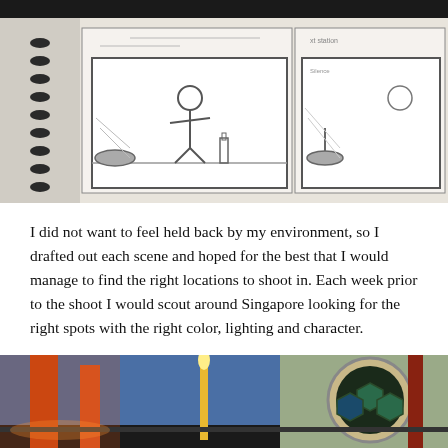[Figure (photo): A spiral-bound sketchbook showing hand-drawn storyboard panels with pencil sketches of a person at a bar with a bottle, depicted from different angles.]
I did not want to feel held back by my environment, so I drafted out each scene and hoped for the best that I would manage to find the right locations to shoot in. Each week prior to the shoot I would scout around Singapore looking for the right spots with the right color, lighting and character.
[Figure (photo): A nighttime street scene with warm orange and red columns on the left and a building with a large circular stained-glass window on the right, photographed in Singapore.]